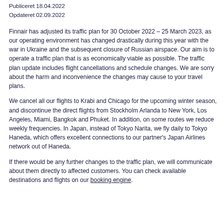Publiceret 18.04.2022
Opdateret 02.09.2022
Finnair has adjusted its traffic plan for 30 October 2022 – 25 March 2023, as our operating environment has changed drastically during this year with the war in Ukraine and the subsequent closure of Russian airspace. Our aim is to operate a traffic plan that is as economically viable as possible. The traffic plan update includes flight cancellations and schedule changes. We are sorry about the harm and inconvenience the changes may cause to your travel plans.
We cancel all our flights to Krabi and Chicago for the upcoming winter season, and discontinue the direct flights from Stockholm Arlanda to New York, Los Angeles, Miami, Bangkok and Phuket. In addition, on some routes we reduce weekly frequencies. In Japan, instead of Tokyo Narita, we fly daily to Tokyo Haneda, which offers excellent connections to our partner's Japan Airlines network out of Haneda.
If there would be any further changes to the traffic plan, we will communicate about them directly to affected customers. You can check available destinations and flights on our booking engine.